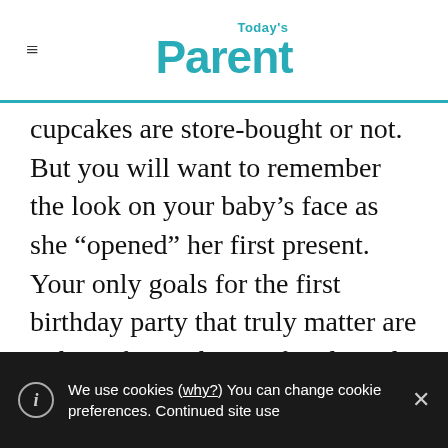Today's Parent
cupcakes are store-bought or not. But you will want to remember the look on your baby’s face as she “opened” her first present. Your only goals for the first birthday party that truly matter are to have fun with your family and friends, and to pat yourself on the back for raising an increasingly cute small human.
ADVERTISEMENT
We use cookies (why?) You can change cookie preferences. Continued site use